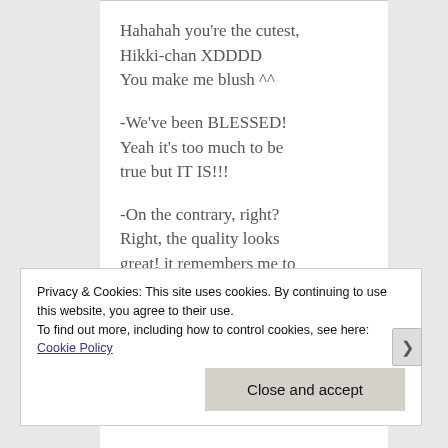Hahahah you're the cutest, Hikki-chan XDDDD
You make me blush ^^

-We've been BLESSED!
Yeah it's too much to be true but IT IS!!!

-On the contrary, right?
Right, the quality looks great! it remembers me to
Privacy & Cookies: This site uses cookies. By continuing to use this website, you agree to their use.
To find out more, including how to control cookies, see here: Cookie Policy
Close and accept